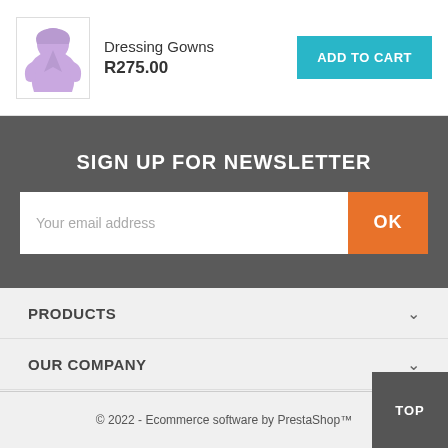[Figure (photo): Dressing gown product thumbnail - a purple/lavender hooded garment illustration]
Dressing Gowns
R275.00
ADD TO CART
SIGN UP FOR NEWSLETTER
Your email address
OK
PRODUCTS
OUR COMPANY
YOUR ACCOUNT
QUICK CONTACT
© 2022 - Ecommerce software by PrestaShop™
TOP